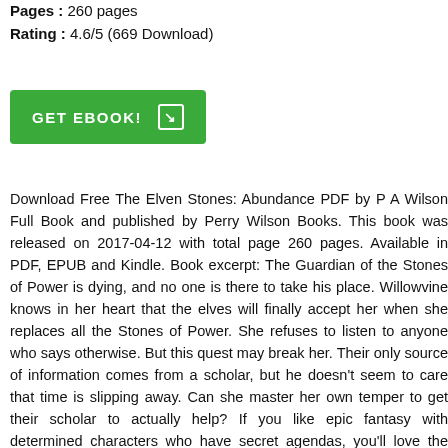Pages : 260 pages
Rating : 4.6/5 (669 Download)
[Figure (other): Green GET EBOOK! button with arrow icon]
Download Free The Elven Stones: Abundance PDF by P A Wilson Full Book and published by Perry Wilson Books. This book was released on 2017-04-12 with total page 260 pages. Available in PDF, EPUB and Kindle. Book excerpt: The Guardian of the Stones of Power is dying, and no one is there to take his place. Willowvine knows in her heart that the elves will finally accept her when she replaces all the Stones of Power. She refuses to listen to anyone who says otherwise. But this quest may break her. Their only source of information comes from a scholar, but he doesn't seem to care that time is slipping away. Can she master her own temper to get their scholar to actually help? If you like epic fantasy with determined characters who have secret agendas, you'll love the second book in the Elven Stones series.